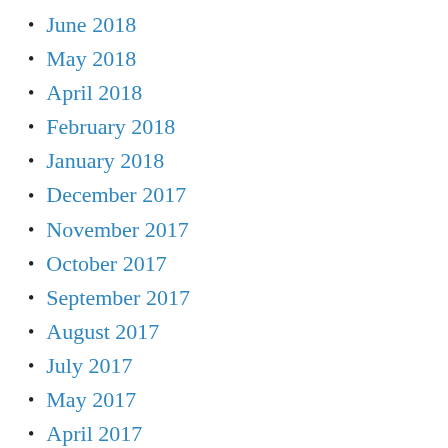June 2018
May 2018
April 2018
February 2018
January 2018
December 2017
November 2017
October 2017
September 2017
August 2017
July 2017
May 2017
April 2017
March 2017
February 2017
January 2017